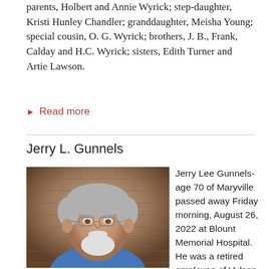parents, Holbert and Annie Wyrick; step-daughter, Kristi Hunley Chandler; granddaughter, Meisha Young; special cousin, O. G. Wyrick; brothers, J. B., Frank, Calday and H.C. Wyrick; sisters, Edith Turner and Artie Lawson.
▶ Read more
Jerry L. Gunnels
[Figure (photo): Portrait photo of an elderly man with gray hair, white beard and mustache, wearing glasses and a blue shirt, with a brick wall background.]
Jerry Lee Gunnels-age 70 of Maryville passed away Friday morning, August 26, 2022 at Blount Memorial Hospital. He was a retired employee of Vulcan Materials in Maryville. He enjoyed riding his golf cart